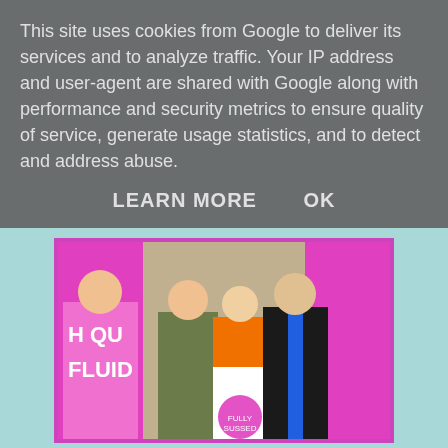This site uses cookies from Google to deliver its services and to analyze traffic. Your IP address and user-agent are shared with Google along with performance and security metrics to ensure quality of service, generate usage statistics, and to detect and address abuse.
LEARN MORE   OK
[Figure (photo): Group photo of people at a cycling/mountain biking event, with pink sponsor banners visible including text 'H QU FLUID'. People are wearing cycling gear.]
Like all the races at Newnam, it included lots of rooty and muddy slides, with some STEEP but short climbs and most enjoyable of all the single tracks and the well known bear pit! It was definitely a course not to be missed.
As usual, thank you so much to Maddie and Jay from Fully Sussed who made this weekend happen. Also, to everyone else who came along to help and support